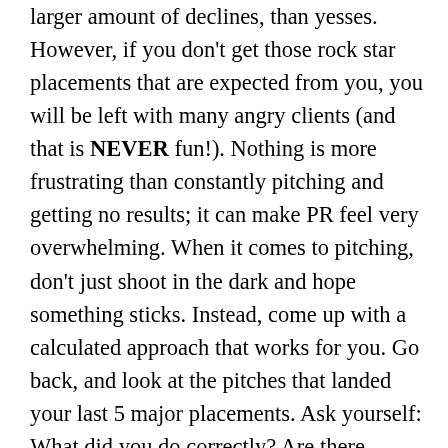larger amount of declines, than yesses. However, if you don't get those rock star placements that are expected from you, you will be left with many angry clients (and that is NEVER fun!). Nothing is more frustrating than constantly pitching and getting no results; it can make PR feel very overwhelming. When it comes to pitching, don't just shoot in the dark and hope something sticks. Instead, come up with a calculated approach that works for you. Go back, and look at the pitches that landed your last 5 major placements. Ask yourself: What did you do correctly? Are there common themes within these pitches? Take some time to study your pitches to see what is working and what isn't. Copy the format of the pitches  that are working